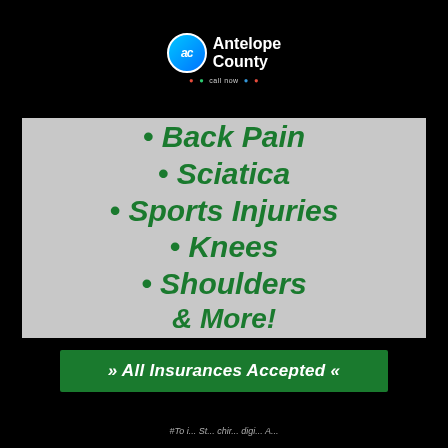[Figure (logo): Antelope County logo with circular 'ac' icon and social media dots below]
Back Pain
Sciatica
Sports Injuries
Knees
Shoulders & More!
» All Insurances Accepted «